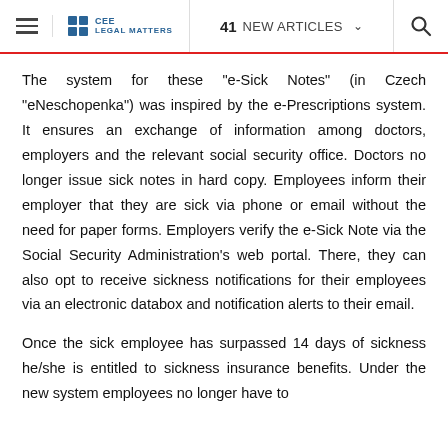≡  CEE Legal Matters  41 NEW ARTICLES  🔍
The system for these "e-Sick Notes" (in Czech "eNeschopenka") was inspired by the e-Prescriptions system. It ensures an exchange of information among doctors, employers and the relevant social security office. Doctors no longer issue sick notes in hard copy. Employees inform their employer that they are sick via phone or email without the need for paper forms. Employers verify the e-Sick Note via the Social Security Administration's web portal. There, they can also opt to receive sickness notifications for their employees via an electronic databox and notification alerts to their email.
Once the sick employee has surpassed 14 days of sickness he/she is entitled to sickness insurance benefits. Under the new system employees no longer have to